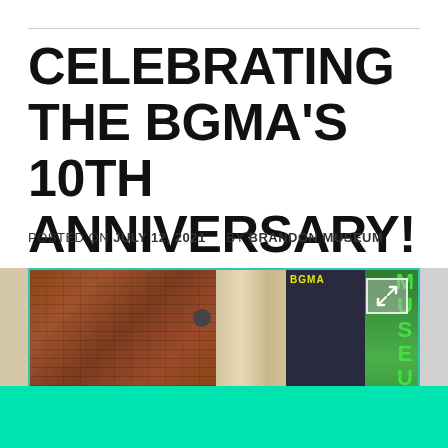CELEBRATING THE BGMA'S 10TH ANNIVERSARY!
POSTED ON JULY 12, 2021     BY BRANDON MUSEUM
[Figure (photo): Exterior photograph of a brick museum building with stone columns and a vertical BGMA Museum banner sign on the right side]